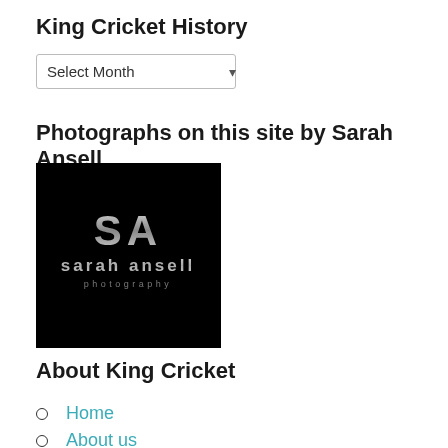King Cricket History
[Figure (other): Dropdown select box with label 'Select Month']
Photographs on this site by Sarah Ansell
[Figure (logo): Sarah Ansell Photography logo — black background with silver 'SA' monogram and 'sarah ansell photography' text]
About King Cricket
Home
About us